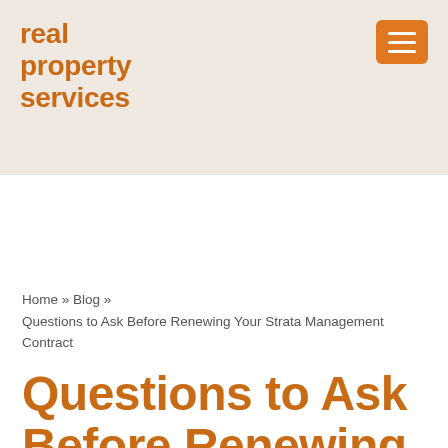real property services
Home » Blog » Questions to Ask Before Renewing Your Strata Management Contract
Questions to Ask Before Renewing Your Strata Management Contract